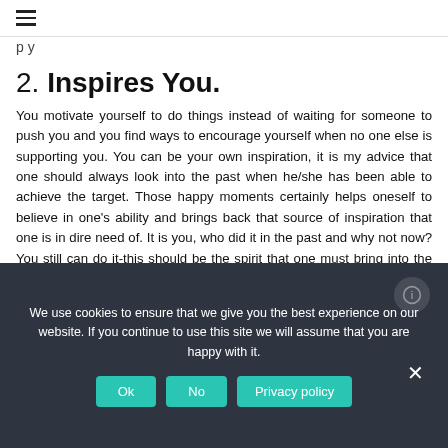≡
p y
2. Inspires You.
You motivate yourself to do things instead of waiting for someone to push you and you find ways to encourage yourself when no one else is supporting you. You can be your own inspiration, it is my advice that one should always look into the past when he/she has been able to achieve the target. Those happy moments certainly helps oneself to believe in one's ability and brings back that source of inspiration that one is in dire need of. It is you, who did it in the past and why not now? You still can do it-this should be the spirit that one must bring into the light and act accordingly to the right path.
We use cookies to ensure that we give you the best experience on our website. If you continue to use this site we will assume that you are happy with it. Ok No Privacy policy